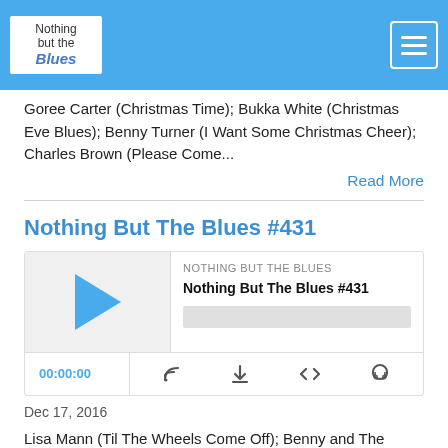Nothing but the Blues
Goree Carter (Christmas Time); Bukka White (Christmas Eve Blues); Benny Turner (I Want Some Christmas Cheer); Charles Brown (Please Come...
Read More
Nothing But The Blues #431
[Figure (screenshot): Podcast player widget for Nothing But The Blues #431 showing play button, progress bar, timestamp 00:00:00 and control icons]
Dec 17, 2016
Lisa Mann (Til The Wheels Come Off); Benny and The Flybyniters (You Ain't Puttin' Out Nothin' But The Lights); Jimmie Vaughan (No Use Knocking); Smoky Greenwell (Two Headed Woman); Fiona Boyes (Can't Stay Here No More);